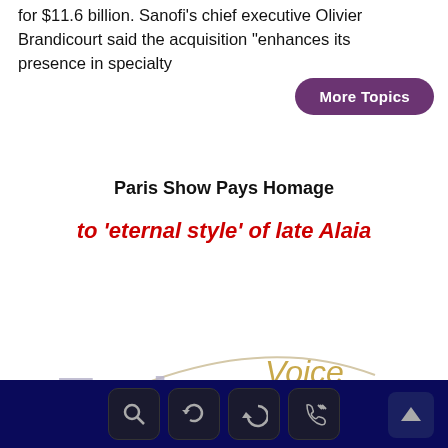for $11.6 billion. Sanofi's chief executive Olivier Brandicourt said the acquisition "enhances its presence in specialty
[Figure (other): More Topics button — rounded purple pill button with white text]
Paris Show Pays Homage
to 'eternal style' of late Alaia
[Figure (logo): Emirates Voice logo — large light-purple 'Emirates' text with gold diamond shape and 'Voice' text in gold/tan, with a curved arc line]
Navigation footer bar with search, refresh, back, and phone icons, plus scroll-to-top arrow